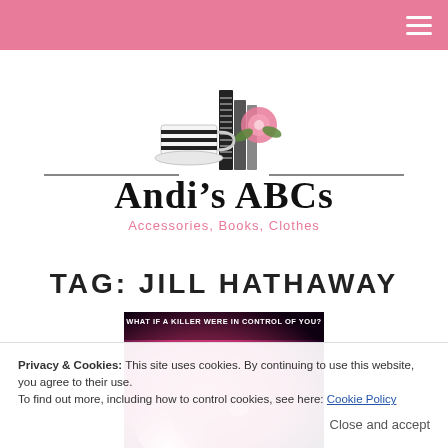Navigation menu (hamburger icon)
[Figure (logo): Andi's ABCs logo — stacked books with a teacup and pink rose illustration, with text 'Andi's ABCs' and subtitle 'Accessories, Books, Clothes']
TAG: JILL HATHAWAY
[Figure (photo): Book cover image with text 'WHAT IF A KILLER WERE IN CONTROL OF YOU?' over a pink-lit face]
Privacy & Cookies: This site uses cookies. By continuing to use this website, you agree to their use.
To find out more, including how to control cookies, see here: Cookie Policy
Close and accept